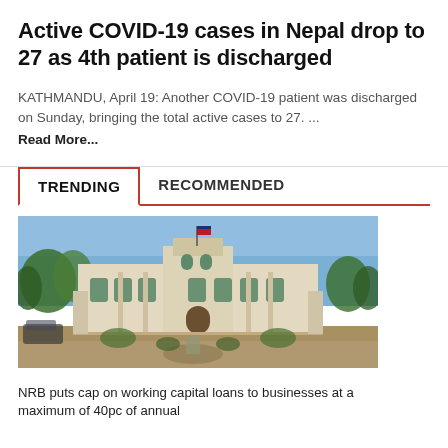Active COVID-19 cases in Nepal drop to 27 as 4th patient is discharged
KATHMANDU, April 19: Another COVID-19 patient was discharged on Sunday, bringing the total active cases to 27. ... Read More...
TRENDING  RECOMMENDED
[Figure (photo): Exterior photo of a white colonial-style government building (Nepal Rastra Bank) with blue sky, trees, and a fountain in the foreground.]
NRB puts cap on working capital loans to businesses at a maximum of 40pc of annual